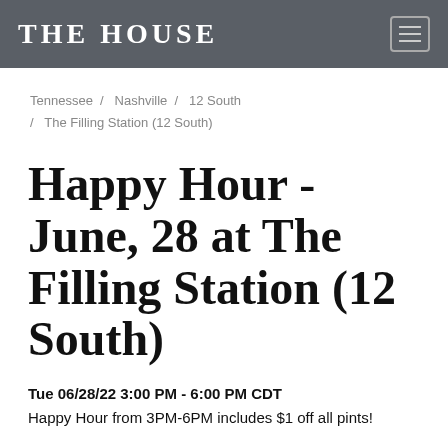THE HOUSE
Tennessee / Nashville / 12 South / The Filling Station (12 South)
Happy Hour - June, 28 at The Filling Station (12 South)
Tue 06/28/22 3:00 PM - 6:00 PM CDT
Happy Hour from 3PM-6PM includes $1 off all pints!